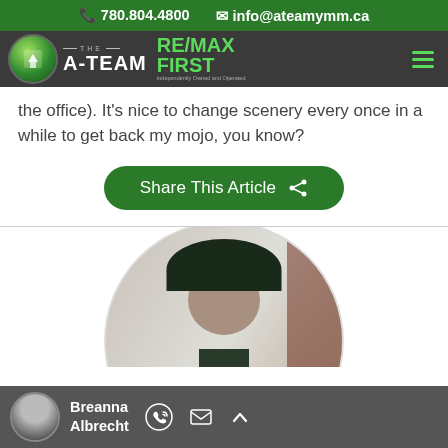780.804.4800  info@ateamymm.ca
[Figure (logo): The A-Team RE/MAX First logo with navigation bar]
the office). It's nice to change scenery every once in a while to get back my mojo, you know?
Share This Article
[Figure (photo): Circular cropped photo of a person wearing a dark hat and gray jacket, with blurred background]
Breanna Albrecht